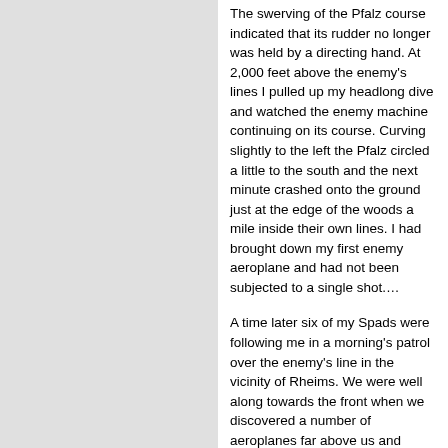The swerving of the Pfalz course indicated that its rudder no longer was held by a directing hand. At 2,000 feet above the enemy's lines I pulled up my headlong dive and watched the enemy machine continuing on its course. Curving slightly to the left the Pfalz circled a little to the south and the next minute crashed onto the ground just at the edge of the woods a mile inside their own lines. I had brought down my first enemy aeroplane and had not been subjected to a single shot.…
A time later six of my Spads were following me in a morning's patrol over the enemy's line in the vicinity of Rheims. We were well along towards the front when we discovered a number of aeroplanes far above us and somewhat behind our side of the